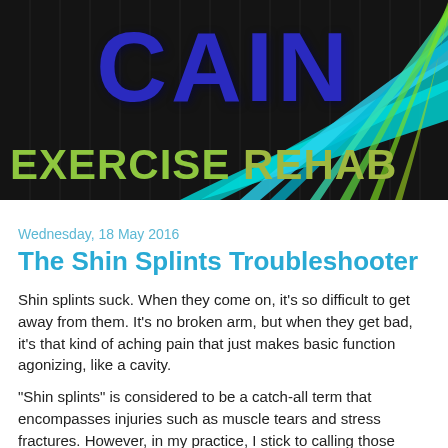[Figure (logo): CAIN Exercise Rehab banner logo with dark background and colorful wave graphics in cyan, blue, and green. Large blue 'CAIN' text at top, lime green 'EXERCISE REHAB' text at bottom.]
Wednesday, 18 May 2016
The Shin Splints Troubleshooter
Shin splints suck. When they come on, it's so difficult to get away from them. It's no broken arm, but when they get bad, it's that kind of aching pain that just makes basic function agonizing, like a cavity.
"Shin splints" is considered to be a catch-all term that encompasses injuries such as muscle tears and stress fractures. However, in my practice, I stick to calling those